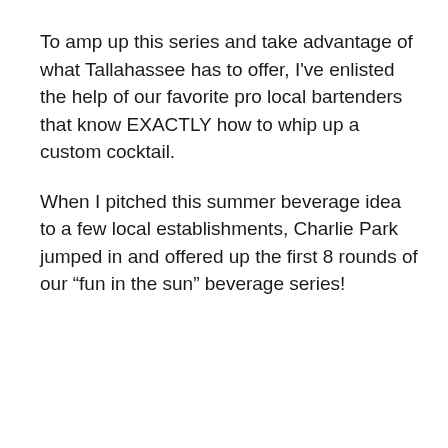To amp up this series and take advantage of what Tallahassee has to offer, I've enlisted the help of our favorite pro local bartenders that know EXACTLY how to whip up a custom cocktail.
When I pitched this summer beverage idea to a few local establishments, Charlie Park jumped in and offered up the first 8 rounds of our “fun in the sun” beverage series!